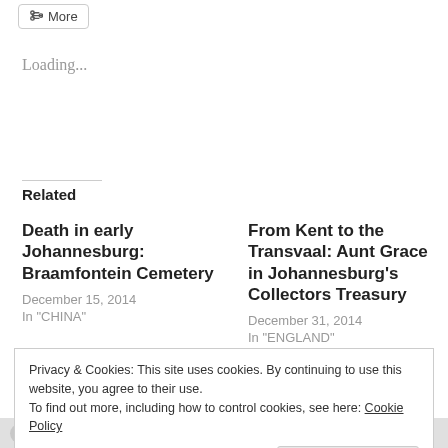[Figure (other): More button with share icon]
Loading...
Related
Death in early Johannesburg: Braamfontein Cemetery
December 15, 2014
In "CHINA"
From Kent to the Transvaal: Aunt Grace in Johannesburg’s Collectors Treasury
December 31, 2014
In "ENGLAND"
Lisbon’s hidden Jewish
Privacy & Cookies: This site uses cookies. By continuing to use this website, you agree to their use.
To find out more, including how to control cookies, see here: Cookie Policy
Close and accept
BOER WAR   BRAAMFONTEIN CEMETERY   CANADA